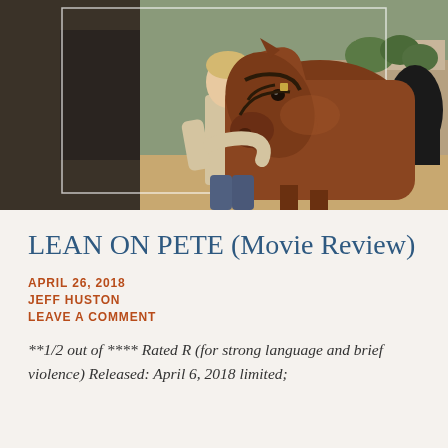[Figure (photo): A teenage boy with light hair wearing a beige t-shirt stands next to and holds a large chestnut horse by its bridle/halter in what appears to be a stable or ranch setting. The horse's head is prominent in the foreground on the right side. Background shows stable structures and trees.]
LEAN ON PETE (Movie Review)
APRIL 26, 2018
JEFF HUSTON
LEAVE A COMMENT
**1/2 out of **** Rated R (for strong language and brief violence) Released: April 6, 2018 limited;